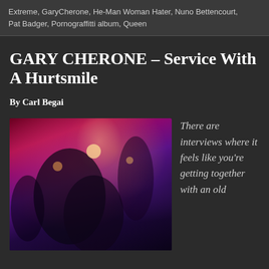Extreme, GaryCherone, He-Man Woman Hater, Nuno Bettencourt, Pat Badger, Pornograffitti album, Queen
GARY CHERONE – Service With A Hurtsmile
By Carl Begai
[Figure (photo): Concert photo showing performer on stage with purple and pink stage lighting, crowd silhouettes visible in background]
There are interviews where it feels like you're getting together with an old